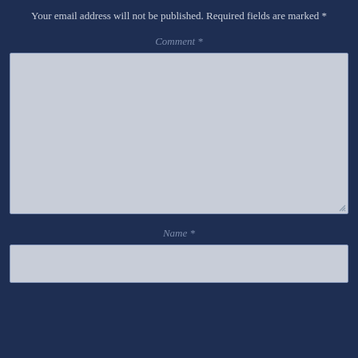Your email address will not be published. Required fields are marked *
Comment *
[Figure (other): Large textarea input field with light grey background and resize handle in bottom right corner]
Name *
[Figure (other): Single-line text input field with light grey background]